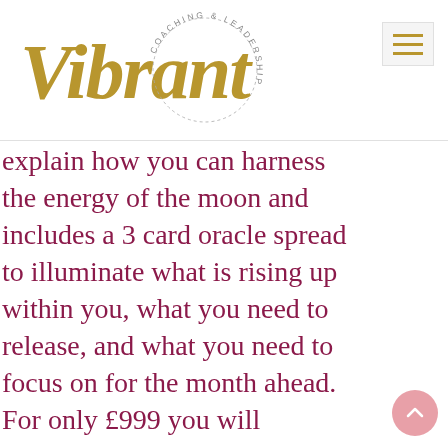[Figure (logo): Vibrant Coaching & Leadership logo — cursive gold 'Vibrant' script with circular text 'COACHING & LEADERSHIP' around it]
explain how you can harness the energy of the moon and includes a 3 card oracle spread to illuminate what is rising up within you, what you need to release, and what you need to focus on for the month ahead. For only £999 you will
[Figure (other): Pink circular scroll-to-top button with upward chevron arrow]